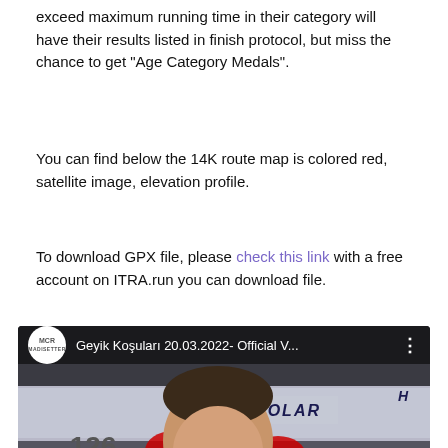exceed maximum running time in their category will have their results listed in finish protocol, but miss the chance to get "Age Category Medals".
You can find below the 14K route map is colored red, satellite image, elevation profile.
To download GPX file, please check this link with a free account on ITRA.run you can download file.
[Figure (screenshot): YouTube video thumbnail showing a young boy smiling, with sponsor logos visible in background (Polar, Red Bull, 126, Activsan). Video title reads 'Geyik Koşuları 20.03.2022- Official V...' with MCR logo on left.]